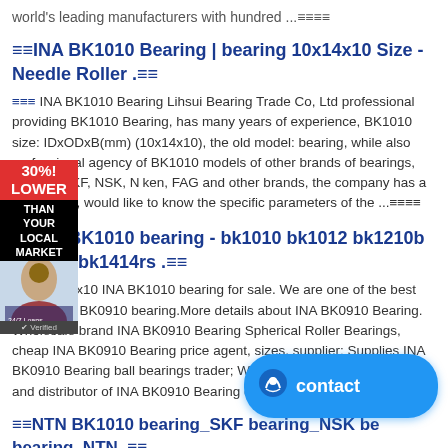world's leading manufacturers with hundred ...≡≡≡≡
≡≡INA BK1010 Bearing | bearing 10x14x10 Size - Needle Roller .≡≡
≡≡≡ INA BK1010 Bearing Lihsui Bearing Trade Co, Ltd professional providing BK1010 Bearing, has many years of experience, BK1010 size: IDxODxB(mm) (10x14x10), the old model: bearing, while also professional agency of BK1010 models of other brands of bearings, such as SKF, NSK, Niken, FAG and other brands, the company has a lot of stock, would like to know the specific parameters of the ...≡≡≡≡
≡≡INA BK1010 bearing - bk1010 bk1012 bk1210b bk1212 bk1414rs .≡≡
≡≡≡ 10x14x10 INA BK1010 bearing for sale. We are one of the best dealers for BK0910 bearing.More details about INA BK0910 Bearing. Wholesale brand INA BK0910 Bearing Spherical Roller Bearings, cheap INA BK0910 Bearing price agent, sizes, supplier; Supplies INA BK0910 Bearing ball bearings trader; We are the professional exporter and distributor of INA BK0910 Bearing dealer, factory, cost..≡≡≡≡
≡≡NTN BK1010 bearing_SKF bearing_NSK bearing_NTN .≡≡
≡≡≡ NTN BK1010 bearing using a wide range, NTN BK1010 bearings are